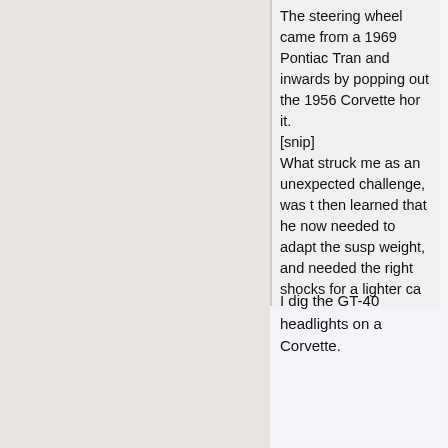The steering wheel came from a 1969 Pontiac Tran and inwards by popping out the 1956 Corvette hor it.
[snip]
What struck me as an unexpected challenge, was t then learned that he now needed to adapt the susp weight, and needed the right shocks for a lighter ca
I dig the GT-40 headlights on a Corvette.